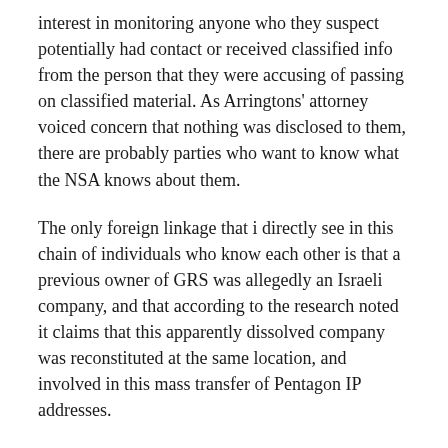interest in monitoring anyone who they suspect potentially had contact or received classified info from the person that they were accusing of passing on classified material. As Arringtons' attorney voiced concern that nothing was disclosed to them, there are probably parties who want to know what the NSA knows about them.
The only foreign linkage that i directly see in this chain of individuals who know each other is that a previous owner of GRS was allegedly an Israeli company, and that according to the research noted it claims that this apparently dissolved company was reconstituted at the same location, and involved in this mass transfer of Pentagon IP addresses.
I am guessing that the NSA is actually involved, but that Tucker was in no way a target, and it could well be that whoever is seeking to convince him to 'investigate' under the premise that the NSA is seeking to take his show off of the air, might have other reasons to want someone to pry loose some info for them. Unless Tuckers' source is personally known, one option is that